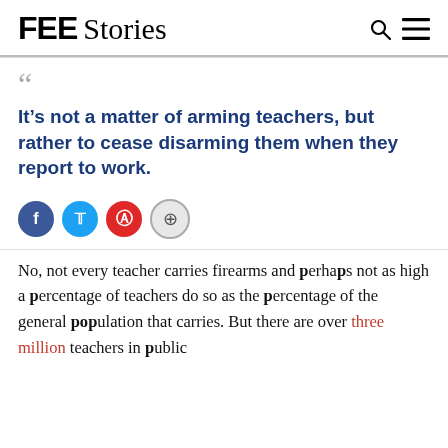FEE Stories
“It’s not a matter of arming teachers, but rather to cease disarming them when they report to work.
No, not every teacher carries firearms and perhaps not as high a percentage of teachers do so as the percentage of the general population that carries. But there are over three million teachers in public